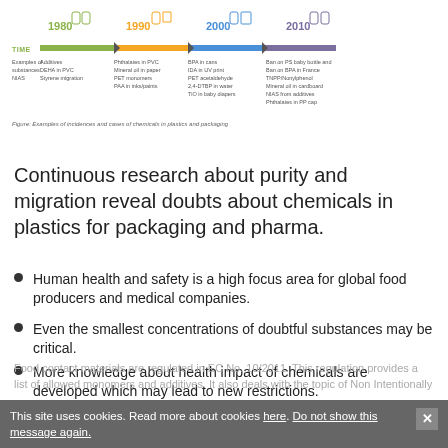[Figure (infographic): Timeline infographic showing examples of incidences and cases of chemicals in plastics and packaging from 1980 to 2010. Colored bar segments for each decade (green=1980, orange=1990, blue=2000, purple=2010) with icons and text describing chemical substances per era.]
Figure: Examples of incidences and cases of chemicals in plastics and packaging
Continuous research about purity and migration reveal doubts about chemicals in plastics for packaging and pharma.
Human health and safety is a high focus area for global food producers and medical companies.
Even the smallest concentrations of doubtful substances may be critical.
More knowledge about health impact of chemicals are developed which may lead to new restrictions.
Food contact materials are regulated in EC No. 10/2011. This regulation provides a list of allowed monomers and additives. It also deals with the topic of Non Intentionally
This site uses cookies. Read more about cookies here. Do not show this message again.